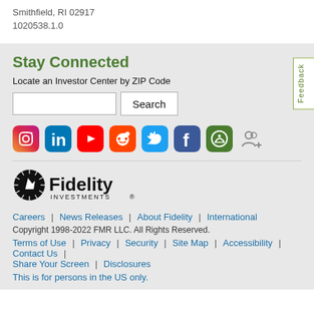Smithfield, RI 02917
1020538.1.0
Stay Connected
Locate an Investor Center by ZIP Code
[Figure (other): Social media icons: Instagram, LinkedIn, YouTube, Reddit, Twitter, Facebook, a green icon, and an add-person icon]
[Figure (logo): Fidelity Investments logo with sunburst and wordmark]
Careers | News Releases | About Fidelity | International
Copyright 1998-2022 FMR LLC. All Rights Reserved.
Terms of Use | Privacy | Security | Site Map | Accessibility | Contact Us | Share Your Screen | Disclosures
This is for persons in the US only.